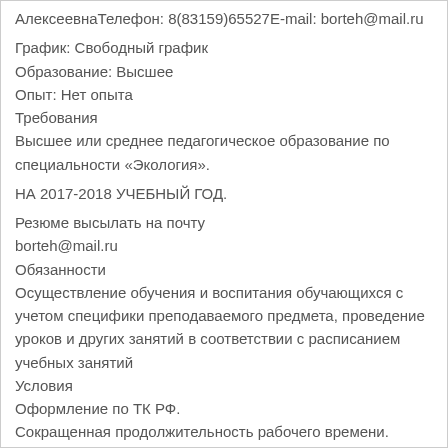АлексеевнаТелефон: 8(83159)65527E-mail: borteh@mail.ru
График: Свободный график
Образование: Высшее
Опыт: Нет опыта
Требования
Высшее или среднее педагогическое образование по специальности «Экология».
НА 2017-2018 УЧЕБНЫЙ ГОД.
Резюме высылать на почту
borteh@mail.ru
Обязанности
Осуществление обучения и воспитания обучающихся с учетом специфики преподаваемого предмета, проведение уроков и других занятий в соответствии с расписанием учебных занятий
Условия
Оформление по ТК РФ.
Сокращенная продолжительность рабочего времени.
Ежегодный основной оплачиваемый отпуск: 56 календарных дней.
Телефон:  8(83159)65527